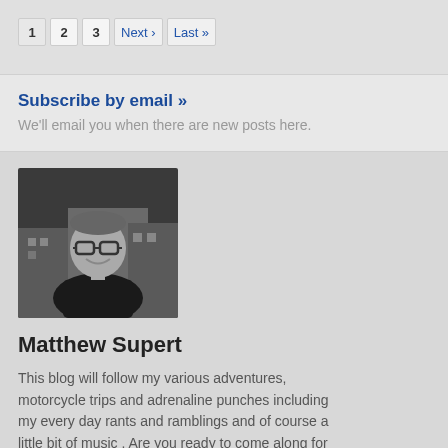1  2  3  Next ›  Last »
Subscribe by email »
We'll email you when there are new posts here.
[Figure (photo): Black and white profile photo of Matthew Supert, a man with glasses smiling]
Matthew Supert
This blog will follow my various adventures, motorcycle trips and adrenaline punches including my every day rants and ramblings and of course a little bit of music . Are you ready to come along for the ride?
[Figure (logo): RSS feed orange icon]